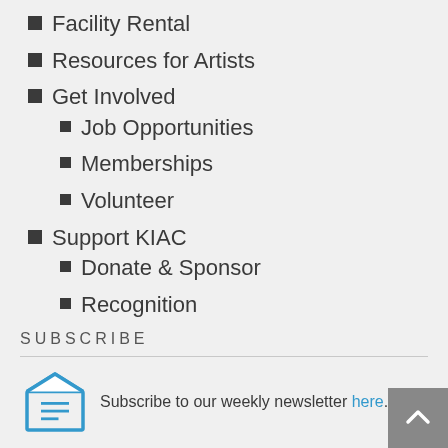Facility Rental
Resources for Artists
Get Involved
Job Opportunities
Memberships
Volunteer
Support KIAC
Donate & Sponsor
Recognition
SUBSCRIBE
Subscribe to our weekly newsletter here.